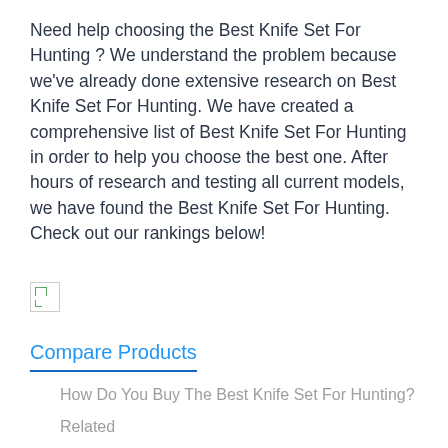Need help choosing the Best Knife Set For Hunting ? We understand the problem because we've already done extensive research on Best Knife Set For Hunting. We have created a comprehensive list of Best Knife Set For Hunting in order to help you choose the best one. After hours of research and testing all current models, we have found the Best Knife Set For Hunting. Check out our rankings below!
[Figure (photo): Broken/missing image placeholder (small icon with green arrow)]
Compare Products
How Do You Buy The Best Knife Set For Hunting?
Related
Compare Products